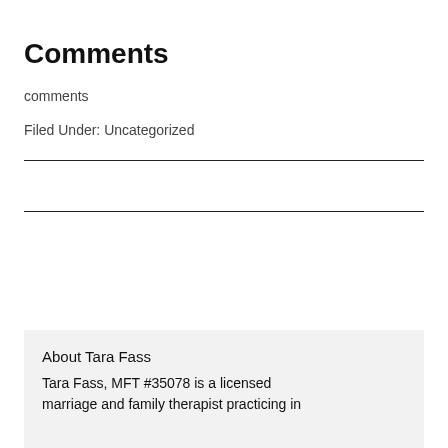Comments
comments
Filed Under: Uncategorized
About Tara Fass
Tara Fass, MFT #35078 is a licensed marriage and family therapist practicing in